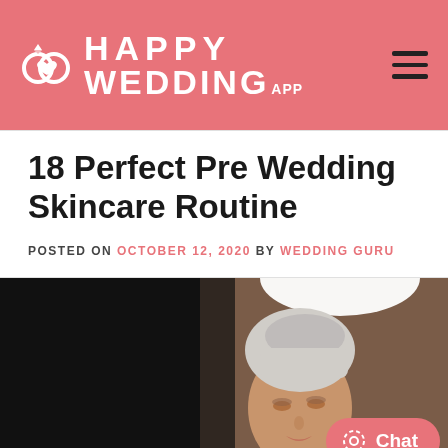HAPPY WEDDING APP
18 Perfect Pre Wedding Skincare Routine
POSTED ON OCTOBER 12, 2020 BY WEDDING GURU
[Figure (photo): Woman with hair wrapped in a white towel, looking in a mirror, skincare/beauty context. Dark background on left, brown tones on right. A white speech-bubble shape partially visible at top.]